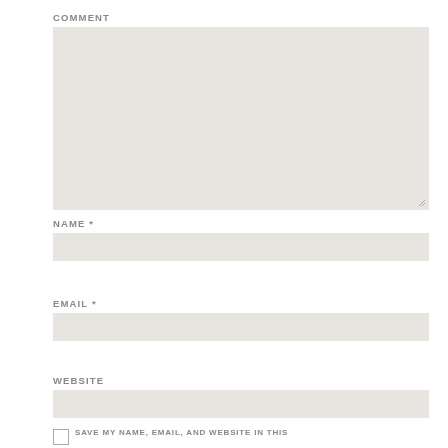COMMENT
[Figure (screenshot): Large comment textarea input box with resize handle at bottom right]
NAME *
[Figure (screenshot): Single-line text input field for name]
EMAIL *
[Figure (screenshot): Single-line text input field for email]
WEBSITE
[Figure (screenshot): Single-line text input field for website]
SAVE MY NAME, EMAIL, AND WEBSITE IN THIS